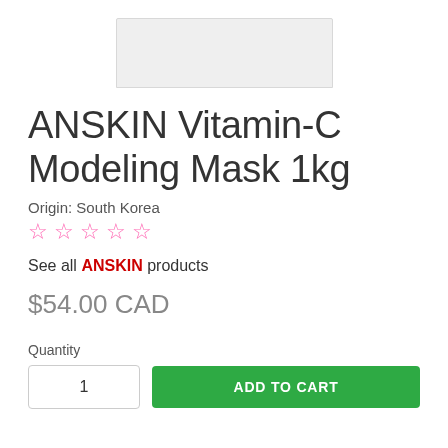[Figure (photo): Product image partially visible at top — white/light gray packaging of ANSKIN Vitamin-C Modeling Mask]
ANSKIN Vitamin-C Modeling Mask 1kg
Origin: South Korea
☆☆☆☆☆ (star rating, 0 stars)
See all ANSKIN products
$54.00 CAD
Quantity
ADD TO CART